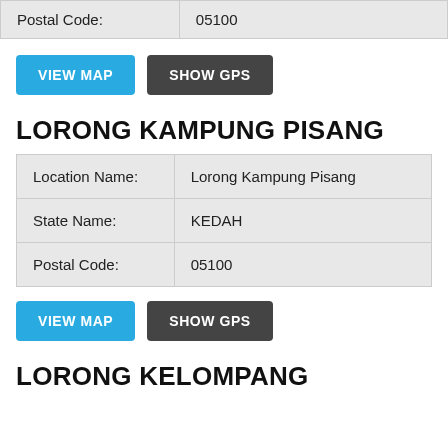| Postal Code: | 05100 |
| --- | --- |
VIEW MAP   SHOW GPS
LORONG KAMPUNG PISANG
| Location Name: | Lorong Kampung Pisang |
| --- | --- |
| State Name: | KEDAH |
| Postal Code: | 05100 |
VIEW MAP   SHOW GPS
LORONG KELOMPANG